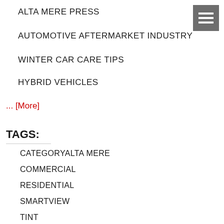ALTA MERE PRESS
AUTOMOTIVE AFTERMARKET INDUSTRY
WINTER CAR CARE TIPS
HYBRID VEHICLES
... [More]
TAGS:
CATEGORYALTA MERE
COMMERCIAL
RESIDENTIAL
SMARTVIEW
TINT